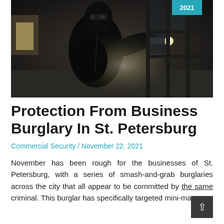[Figure (photo): A person dressed in black with a balaclava mask holding a flashlight, appearing to break into a building at night. Dark atmospheric image.]
Protection From Business Burglary In St. Petersburg
Commercial Security / November 22, 2021
November has been rough for the businesses of St. Petersburg, with a series of smash-and-grab burglaries across the city that all appear to be committed by the same criminal. This burglar has specifically targeted mini-marts